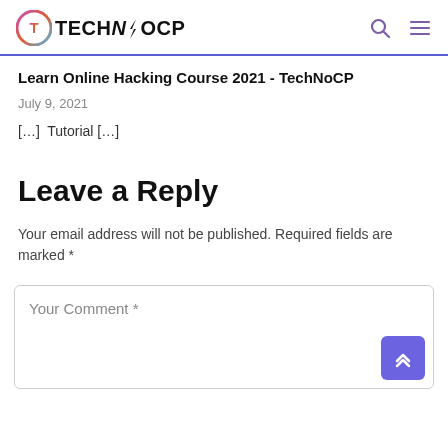TechNoCP — logo and navigation
Learn Online Hacking Course 2021 - TechNoCP
July 9, 2021
[…]  Tutorial […]
Leave a Reply
Your email address will not be published. Required fields are marked *
Your Comment *